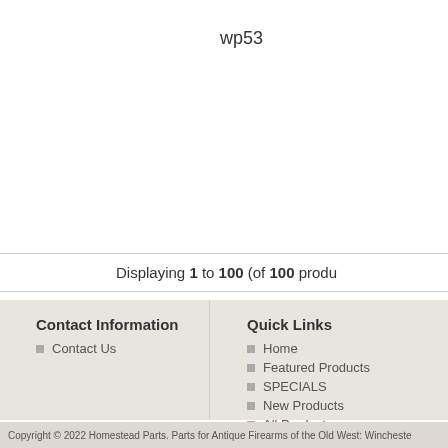wp53
Displaying 1 to 100 (of 100 products)
Contact Information
Contact Us
Quick Links
Home
Featured Products
SPECIALS
New Products
All Products ...
Copyright © 2022 Homestead Parts. Parts for Antique Firearms of the Old West: Winchester